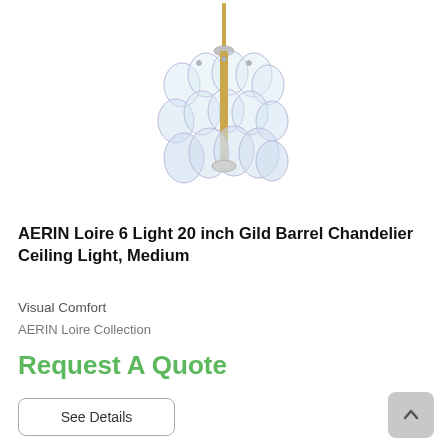[Figure (photo): AERIN Loire 6 Light 20 inch Gild Barrel Chandelier product photo showing a glass globe chandelier with clear oval glass discs arranged in barrel formation, with brass rod, on white background.]
AERIN Loire 6 Light 20 inch Gild Barrel Chandelier Ceiling Light, Medium
Visual Comfort
AERIN Loire Collection
Request A Quote
See Details